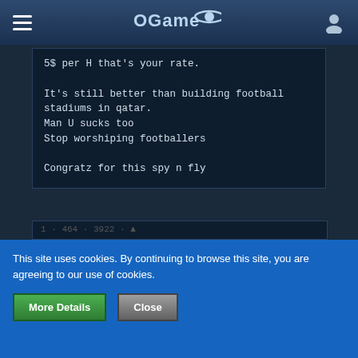OGame
5$ per H that's your rate.

It's still better than building football stadiums in qatar.
Man U sucks too
Stop worshiping footballers

Congratz for this spy n fly
Weird Al
Weirdo
★★★★
This site uses cookies. By continuing to browse this site, you are agreeing to our use of cookies.